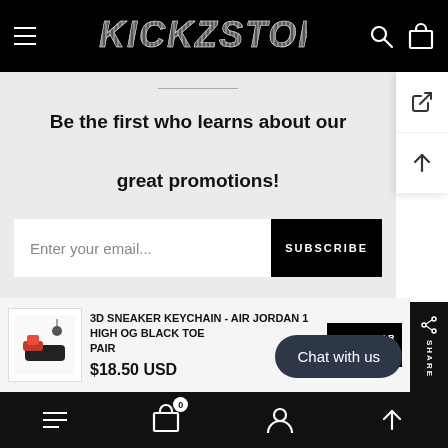KICKZSTORE
Be the first who learns about our great promotions!
Enter your email... SUBSCRIBE
3D SNEAKER KEYCHAIN - AIR JORDAN 1 HIGH OG BLACK TOE PAIR $18.50 USD ADD TO CART
Chat with us
Navigation: Menu, Cart (0), Account, Scroll up